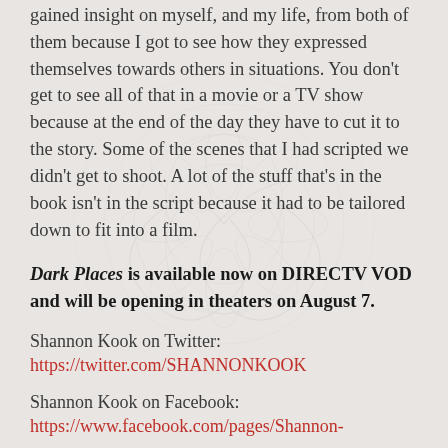gained insight on myself, and my life, from both of them because I got to see how they expressed themselves towards others in situations. You don't get to see all of that in a movie or a TV show because at the end of the day they have to cut it to the story. Some of the scenes that I had scripted we didn't get to shoot. A lot of the stuff that's in the book isn't in the script because it had to be tailored down to fit into a film.
Dark Places is available now on DIRECTV VOD and will be opening in theaters on August 7.
Shannon Kook on Twitter:
https://twitter.com/SHANNONKOOK
Shannon Kook on Facebook:
https://www.facebook.com/pages/Shannon-